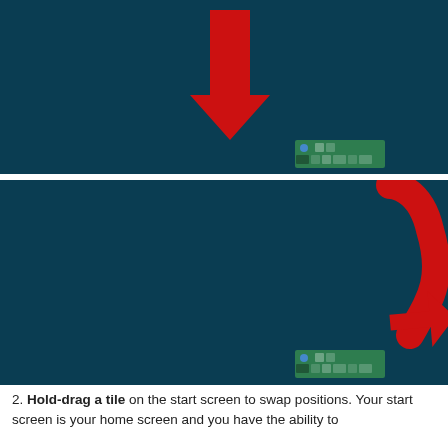[Figure (screenshot): Dark teal screenshot showing a red downward-pointing arrow above a small green tile widget/game board at the bottom]
[Figure (screenshot): Dark teal screenshot showing a large red curved arrow sweeping down and to the right, pointing at a small green tile widget/game board at the bottom]
2. Hold-drag a tile on the start screen to swap positions. Your start screen is your home screen and you have the ability to